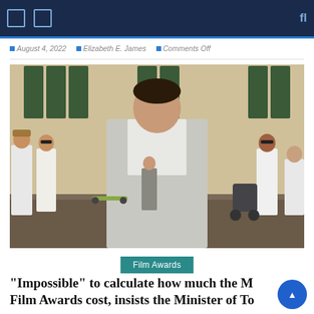August 4, 2022 | Elizabeth E. James | Comments Off
[Figure (photo): A man in a light grey suit standing outdoors in front of a historic stone building with dark green shutters. Several people are visible in the background walking around a public square.]
Film Awards
“Impossible” to calculate how much the Malta Film Awards cost, insists the Minister of Tourism